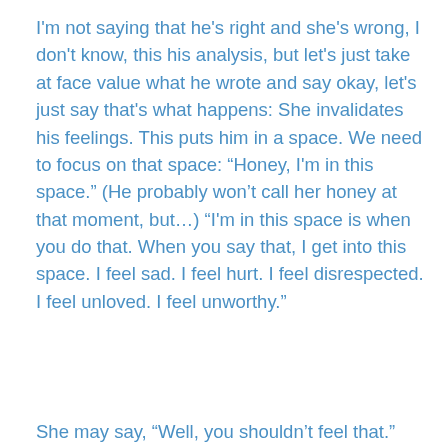I'm not saying that he's right and she's wrong, I don't know, this his analysis, but let's just take at face value what he wrote and say okay, let's just say that's what happens: She invalidates his feelings. This puts him in a space. We need to focus on that space: “Honey, I'm in this space.” (He probably won’t call her honey at that moment, but…) “I'm in this space is when you do that. When you say that, I get into this space. I feel sad. I feel hurt. I feel disrespected. I feel unloved. I feel unworthy.”
She may say, “Well, you shouldn’t feel that.”